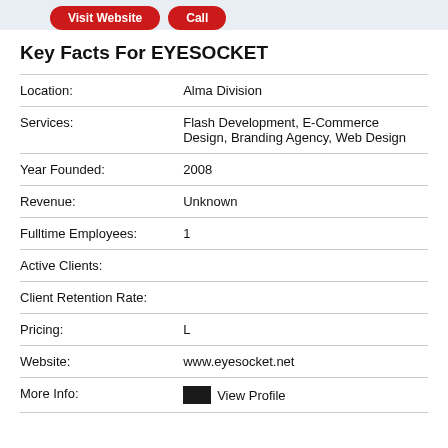Key Facts For EYESOCKET
| Field | Value |
| --- | --- |
| Location: | Alma Division |
| Services: | Flash Development, E-Commerce Design, Branding Agency, Web Design |
| Year Founded: | 2008 |
| Revenue: | Unknown |
| Fulltime Employees: | 1 |
| Active Clients: |  |
| Client Retention Rate: |  |
| Pricing: | L |
| Website: | www.eyesocket.net |
| More Info: | View Profile |